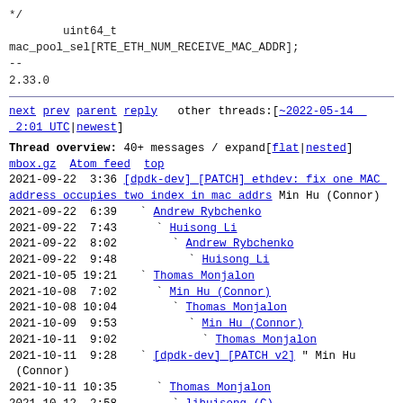*/
        uint64_t
mac_pool_sel[RTE_ETH_NUM_RECEIVE_MAC_ADDR];
--
2.33.0
next prev parent reply  other threads:[~2022-05-14 2:01 UTC|newest]
Thread overview: 40+ messages / expand[flat|nested]
mbox.gz  Atom feed  top
2021-09-22  3:36 [dpdk-dev] [PATCH] ethdev: fix one MAC address occupies two index in mac addrs Min Hu (Connor)
2021-09-22  6:39 ` Andrew Rybchenko
2021-09-22  7:43   ` Huisong Li
2021-09-22  8:02     ` Andrew Rybchenko
2021-09-22  9:48       ` Huisong Li
2021-10-05 19:21 ` Thomas Monjalon
2021-10-08  7:02   ` Min Hu (Connor)
2021-10-08 10:04     ` Thomas Monjalon
2021-10-09  9:53       ` Min Hu (Connor)
2021-10-11  9:02         ` Thomas Monjalon
2021-10-11  9:28 ` [dpdk-dev] [PATCH v2] " Min Hu (Connor)
2021-10-11 10:35   ` Thomas Monjalon
2021-10-12  2:58     ` lihuisong (C)
2021-10-12  7:14       ` Thomas Monjalon
2021-10-15  2:00         ` lihuisong (C)